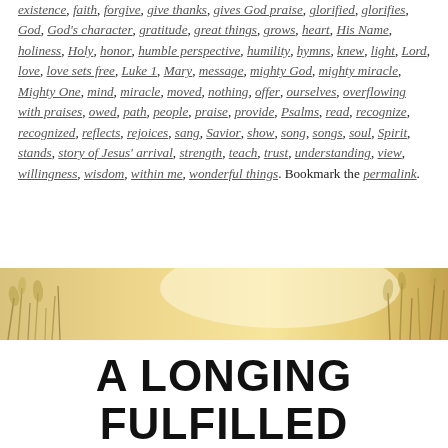existence, faith, forgive, give thanks, gives God praise, glorified, glorifies, God, God's character, gratitude, great things, grows, heart, His Name, holiness, Holy, honor, humble perspective, humility, hymns, knew, light, Lord, love, love sets free, Luke 1, Mary, message, mighty God, mighty miracle, Mighty One, mind, miracle, moved, nothing, offer, ourselves, overflowing with praises, owed, path, people, praise, provide, Psalms, read, recognize, recognized, reflects, rejoices, sang, Savior, show, song, songs, soul, Spirit, stands, story of Jesus' arrival, strength, teach, trust, understanding, view, willingness, wisdom, within me, wonderful things. Bookmark the permalink.
[Figure (photo): A warm golden-toned outdoor photograph showing soft-focus grass or wheat stalks against a bright golden background, used as a decorative banner image.]
A LONGING FULFILLED